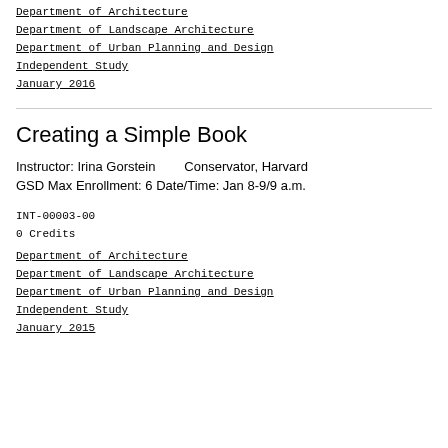Department of Architecture
Department of Landscape Architecture
Department of Urban Planning and Design
Independent Study
January 2016
Creating a Simple Book
Instructor: Irina Gorstein        Conservator, Harvard GSD Max Enrollment: 6 Date/Time: Jan 8-9/9 a.m.
INT-00003-00
0 Credits
Department of Architecture
Department of Landscape Architecture
Department of Urban Planning and Design
Independent Study
January 2015